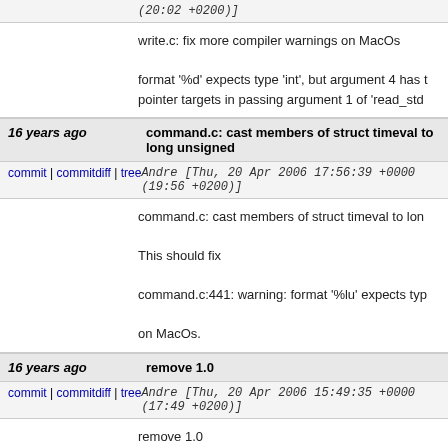(20:02 +0200)]
write.c: fix more compiler warnings on MacOs

format '%d' expects type 'int', but argument 4 has type
pointer targets in passing argument 1 of 'read_std
16 years ago   command.c: cast members of struct timeval to long unsigned
commit | commitdiff | tree   Andre [Thu, 20 Apr 2006 17:56:39 +0000 (19:56 +0200)]
command.c: cast members of struct timeval to lon

This should fix

command.c:441: warning: format '%lu' expects typ

on MacOs.
16 years ago   remove 1.0
commit | commitdiff | tree   Andre [Thu, 20 Apr 2006 15:49:35 +0000 (17:49 +0200)]
remove 1.0

there's not so much left